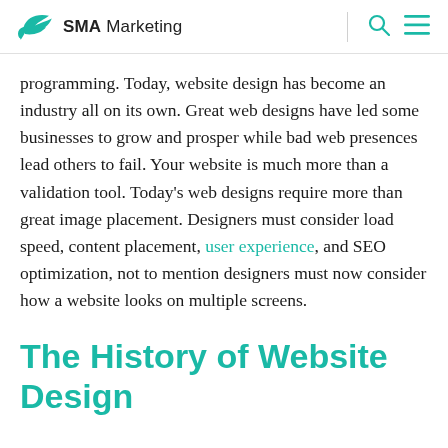SMA Marketing
programming. Today, website design has become an industry all on its own. Great web designs have led some businesses to grow and prosper while bad web presences lead others to fail. Your website is much more than a validation tool. Today's web designs require more than great image placement. Designers must consider load speed, content placement, user experience, and SEO optimization, not to mention designers must now consider how a website looks on multiple screens.
The History of Website Design